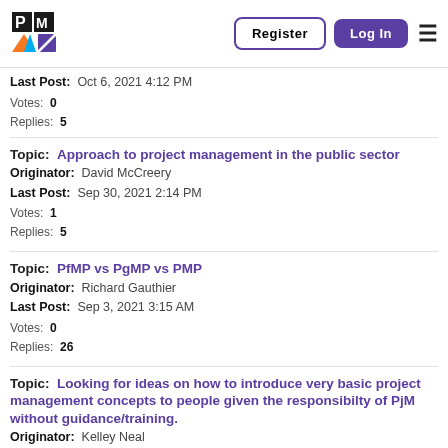PMI Community Forum - Register | Log In
Last Post: Oct 6, 2021 4:12 PM
Votes: 0
Replies: 5
Topic: Approach to project management in the public sector
Originator: David McCreery
Last Post: Sep 30, 2021 2:14 PM
Votes: 1
Replies: 5
Topic: PfMP vs PgMP vs PMP
Originator: Richard Gauthier
Last Post: Sep 3, 2021 3:15 AM
Votes: 0
Replies: 26
Topic: Looking for ideas on how to introduce very basic project management concepts to people given the responsibilty of PjM without guidance/training.
Originator: Kelley Neal